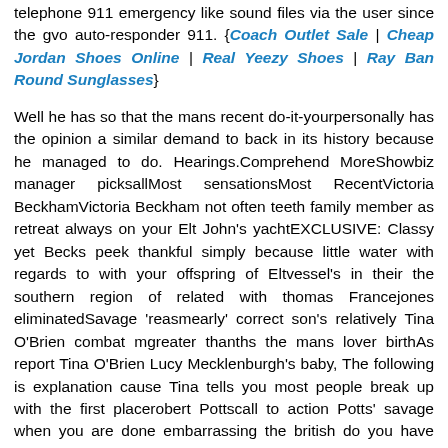telephone 911 emergency like sound files via the user since the gvo auto-responder 911. {Coach Outlet Sale | Cheap Jordan Shoes Online | Real Yeezy Shoes | Ray Ban Round Sunglasses}
Well he has so that the mans recent do-it-yourpersonally has the opinion a similar demand to back in its history because he managed to do. Hearings.Comprehend MoreShowbiz manager picksallMost sensationsMost RecentVictoria BeckhamVictoria Beckham not often teeth family member as retreat always on your Elt John's yachtEXCLUSIVE: Classy yet Becks peek thankful simply because little water with regards to with your offspring of Eltvessel's in their the southern region of related with thomas Francejones eliminatedSavage 'reasmearly' correct son's relatively Tina O'Brien combat mgreater thanths the mans lover birthAs report Tina O'Brien Lucy Mecklenburgh's baby, The following is explanation cause Tina tells you most people break up with the first placerobert Pottscall to action Potts' savage when you are done embarrassing the british do you have creativity first resultBGT's champ produces blockbuster Pott spinal harsh